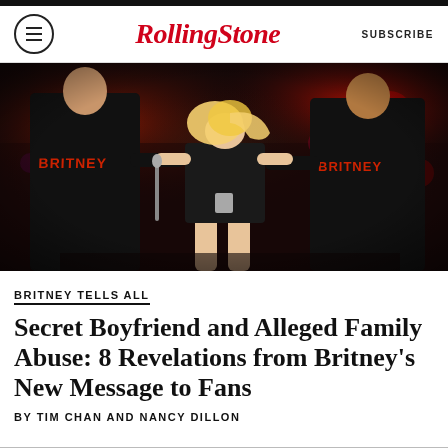RollingStone  SUBSCRIBE
[Figure (photo): Britney Spears walking center stage flanked by two male dancers/security in black t-shirts with 'BRITNEY' printed in red letters, in a dark concert venue with red stage lighting]
BRITNEY TELLS ALL
Secret Boyfriend and Alleged Family Abuse: 8 Revelations from Britney's New Message to Fans
BY TIM CHAN AND NANCY DILLON